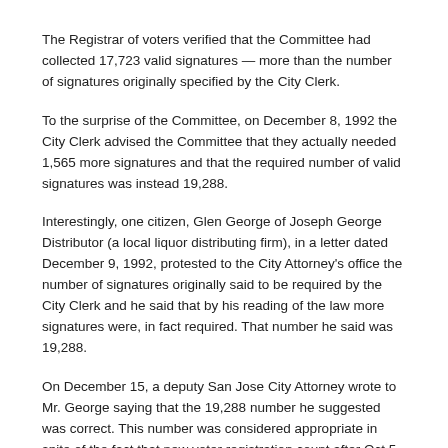The Registrar of voters verified that the Committee had collected 17,723 valid signatures — more than the number of signatures originally specified by the City Clerk.
To the surprise of the Committee, on December 8, 1992 the City Clerk advised the Committee that they actually needed 1,565 more signatures and that the required number of valid signatures was instead 19,288.
Interestingly, one citizen, Glen George of Joseph George Distributor (a local liquor distributing firm), in a letter dated December 9, 1992, protested to the City Attorney's office the number of signatures originally said to be required by the City Clerk and he said that by his reading of the law more signatures were, in fact required. That number he said was 19,288.
On December 15, a deputy San Jose City Attorney wrote to Mr. George saying that the 19,288 number he suggested was correct. This number was considered appropriate in spite of the fact that new voter registration count after Oct 5 (the deadline for voter registration) was not available until Dec 7, 1992, several days after the petitioners had